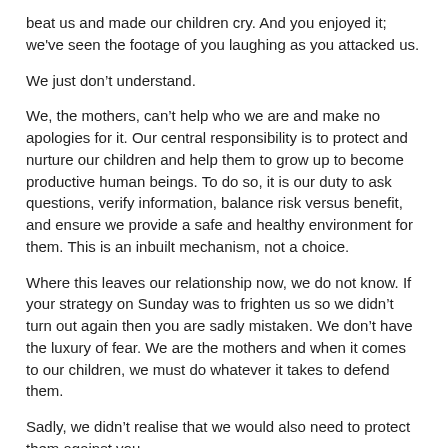beat us and made our children cry.  And you enjoyed it; we've seen the footage of you laughing as you attacked us.
We just don’t understand.
We, the mothers, can’t help who we are and make no apologies for it.  Our central responsibility is to protect and nurture our children and help them to grow up to become productive human beings. To do so, it is our duty to ask questions, verify information, balance risk versus benefit, and ensure we provide a safe and healthy environment for them.  This is an inbuilt mechanism, not a choice.
Where this leaves our relationship now, we do not know.  If your strategy on Sunday was to frighten us so we didn’t turn out again then you are sadly mistaken.  We don’t have the luxury of fear.  We are the mothers and when it comes to our children, we must do whatever it takes to defend them.
Sadly, we didn’t realise that we would also need to protect them against you.